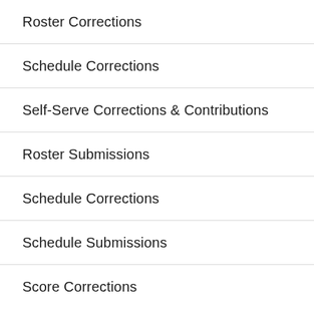Roster Corrections
Schedule Corrections
Self-Serve Corrections & Contributions
Roster Submissions
Schedule Corrections
Schedule Submissions
Score Corrections